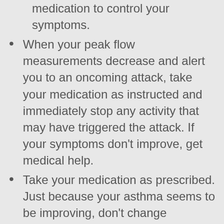medication to control your symptoms.
When your peak flow measurements decrease and alert you to an oncoming attack, take your medication as instructed and immediately stop any activity that may have triggered the attack. If your symptoms don't improve, get medical help.
Take your medication as prescribed. Just because your asthma seems to be improving, don't change anything without first talking to your doctor. It's a good idea to bring your medications with you to each doctor visit, so your doctor can double-check that you're using your medications